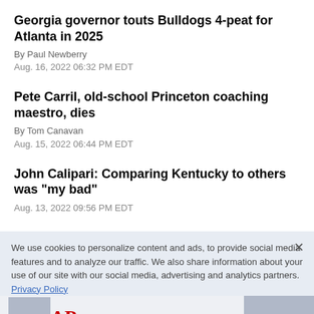Georgia governor touts Bulldogs 4-peat for Atlanta in 2025
By Paul Newberry
Aug. 16, 2022 06:32 PM EDT
Pete Carril, old-school Princeton coaching maestro, dies
By Tom Canavan
Aug. 15, 2022 06:44 PM EDT
John Calipari: Comparing Kentucky to others was "my bad"
Aug. 13, 2022 09:56 PM EDT
NIT headed to Las Vegas in 2023, Indianapolis in 2024
Aug. 12, 2022 06:06 PM EDT
We use cookies to personalize content and ads, to provide social media features and to analyze our traffic. We also share information about your use of our site with our social media, advertising and analytics partners. Privacy Policy
Cookies Settings
Accept All Cookies